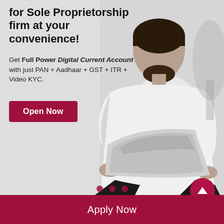for Sole Proprietorship firm at your convenience!
Get Full Power Digital Current Account with just PAN + Aadhaar + GST + ITR + Video KYC.
[Figure (photo): Black and white photo of a young man in white kurta sitting outdoors working on a laptop]
Open Now
Apply Now